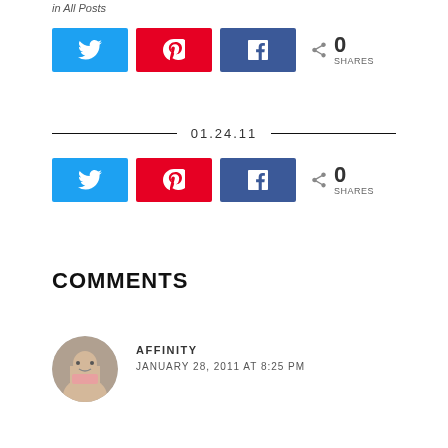in All Posts
[Figure (infographic): Social share buttons row 1: Twitter (blue), Pinterest (red), Facebook (blue), share count 0 SHARES]
01.24.11
[Figure (infographic): Social share buttons row 2: Twitter (blue), Pinterest (red), Facebook (blue), share count 0 SHARES]
COMMENTS
AFFINITY
JANUARY 28, 2011 AT 8:25 PM